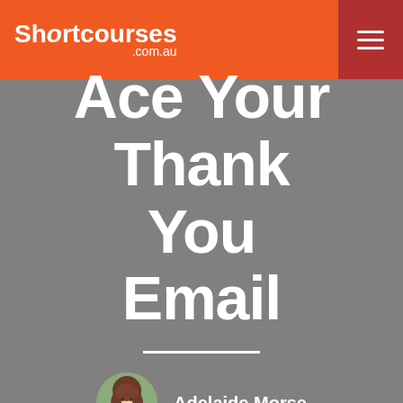Shortcourses .com.au
Ace Your Thank You Email
[Figure (photo): Circular portrait photo of Adelaide Morse, a woman with long brown hair wearing a pink top, against a green/outdoor background]
Adelaide Morse